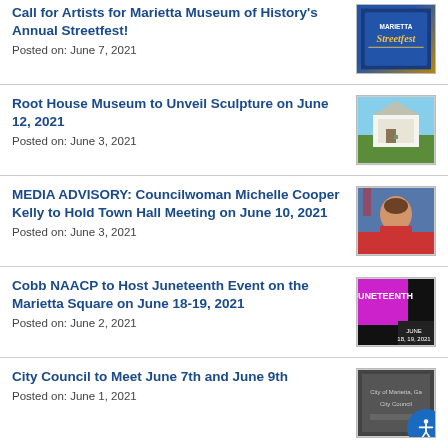Call for Artists for Marietta Museum of History's Annual Streetfest!
Posted on: June 7, 2021
[Figure (illustration): Marietta Streetfest logo with decorative text]
Root House Museum to Unveil Sculpture on June 12, 2021
Posted on: June 3, 2021
[Figure (photo): Photo of Root House Museum building exterior]
MEDIA ADVISORY: Councilwoman Michelle Cooper Kelly to Hold Town Hall Meeting on June 10, 2021
Posted on: June 3, 2021
[Figure (photo): Photo of Councilwoman Michelle Cooper Kelly]
Cobb NAACP to Host Juneteenth Event on the Marietta Square on June 18-19, 2021
Posted on: June 2, 2021
[Figure (photo): Juneteenth event promotional graphic, June 18-19 2021]
City Council to Meet June 7th and June 9th
Posted on: June 1, 2021
[Figure (photo): City of Marietta Georgia City Council sign or building photo]